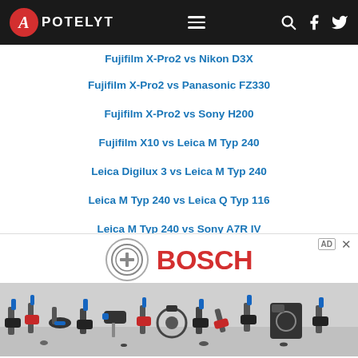APOTELYT
Fujifilm X-Pro2 vs Nikon D3X
Fujifilm X-Pro2 vs Panasonic FZ330
Fujifilm X-Pro2 vs Sony H200
Fujifilm X10 vs Leica M Typ 240
Leica Digilux 3 vs Leica M Typ 240
Leica M Typ 240 vs Leica Q Typ 116
Leica M Typ 240 vs Sony A7R IV
[Figure (photo): Bosch advertisement banner showing Bosch logo and power tools]